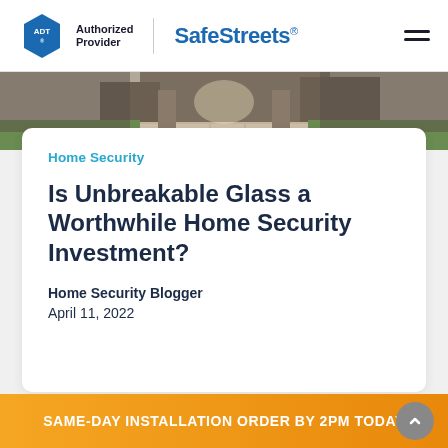ADT Authorized Provider | SafeStreets
[Figure (photo): Exterior driveway leading to a house, daylight, panoramic strip]
Home Security
Is Unbreakable Glass a Worthwhile Home Security Investment?
Home Security Blogger
April 11, 2022
SAME-DAY INSTALLATION ORDER BY 2PM TODAY